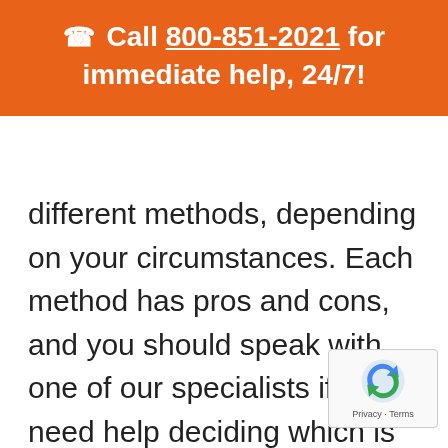📞 Call 800-851-2021 for immediate help, 24/7!
different methods, depending on your circumstances. Each method has pros and cons, and you should speak with one of our specialists if you need help deciding which is best for your situation.
All test specimens undergo an initial screening. The immunoassay (IA) te determines a positive or negative